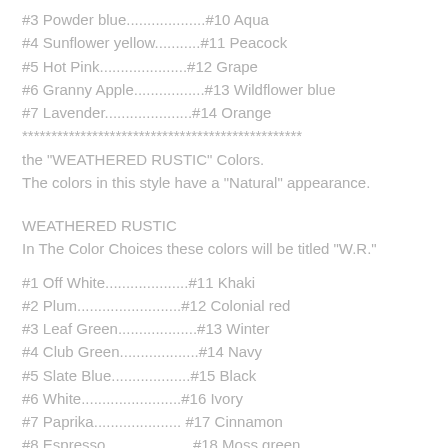#3 Powder blue...................#10 Aqua
#4 Sunflower yellow...........#11 Peacock
#5 Hot Pink.....................#12 Grape
#6 Granny Apple.................#13 Wildflower blue
#7 Lavender.....................#14 Orange
***********************************************
the "WEATHERED RUSTIC" Colors.
The colors in this style have a "Natural" appearance.
WEATHERED RUSTIC
In The Color Choices these colors will be titled "W.R."
#1 Off White....................#11 Khaki
#2 Plum.........................#12 Colonial red
#3 Leaf Green...................#13 Winter
#4 Club Green...................#14 Navy
#5 Slate Blue...................#15 Black
#6 White........................#16 Ivory
#7 Paprika..................... #17 Cinnamon
#8 Espresso.....................#18 Moss green